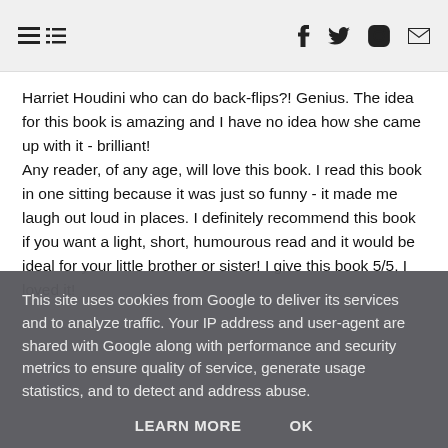[hamburger menu icon] [facebook icon] [twitter icon] [instagram icon] [email icon]
Harriet Houdini who can do back-flips?! Genius. The idea for this book is amazing and I have no idea how she came up with it - brilliant!
Any reader, of any age, will love this book. I read this book in one sitting because it was just so funny - it made me laugh out loud in places. I definitely recommend this book if you want a light, short, humourous read and it would be ideal for your little brother or sister! I give this book 5/5, I loved it!
This site uses cookies from Google to deliver its services and to analyze traffic. Your IP address and user-agent are shared with Google along with performance and security metrics to ensure quality of service, generate usage statistics, and to detect and address abuse.
LEARN MORE    OK